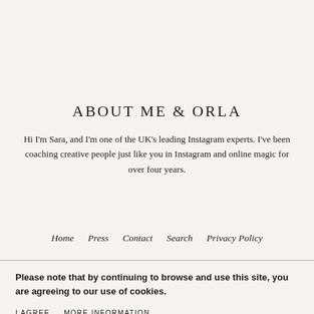ABOUT ME & ORLA
Hi I'm Sara, and I'm one of the UK's leading Instagram experts. I've been coaching creative people just like you in Instagram and online magic for over four years.
Home  Press  Contact  Search  Privacy Policy
Please note that by continuing to browse and use this site, you are agreeing to our use of cookies.
I AGREE
MORE INFORMATION